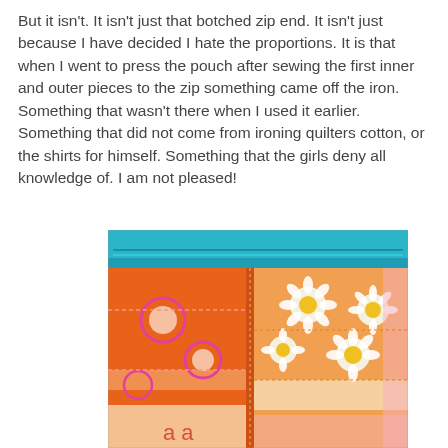But it isn't. It isn't just that botched zip end. It isn't just because I have decided I hate the proportions. It is that when I went to press the pouch after sewing the first inner and outer pieces to the zip something came off the iron. Something that wasn't there when I used it earlier. Something that did not come from ironing quilters cotton, or the shirts for himself. Something that the girls deny all knowledge of. I am not pleased!
[Figure (photo): Close-up photo of a fabric pouch with a teal/turquoise zipper along the top. The pouch fabric features orange panels with pink circle outlines and white/yellow daisy flower patterns. The stitching and zipper detail are clearly visible.]